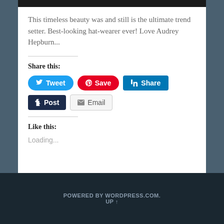[Figure (photo): Cropped image at top of white card, dark/black background strip]
This timeless beauty was and still is the ultimate trend setter. Best-looking hat-wearer ever! Love Audrey Hepburn...
Share this:
[Figure (screenshot): Share buttons: Tweet (Twitter/blue), Save (Pinterest/red), Share (LinkedIn/blue), Post (Tumblr/dark blue), Email (gray)]
Like this:
Loading...
POWERED BY WORDPRESS.COM.
UP ↑